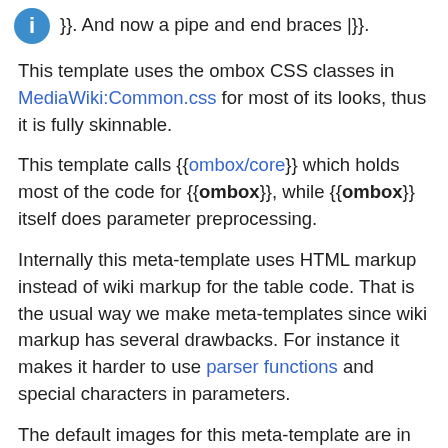}}. And now a pipe and end braces |}}.
This template uses the ombox CSS classes in MediaWiki:Common.css for most of its looks, thus it is fully skinnable.
This template calls {{ombox/core}} which holds most of the code for {{ombox}}, while {{ombox}} itself does parameter preprocessing.
Internally this meta-template uses HTML markup instead of wiki markup for the table code. That is the usual way we make meta-templates since wiki markup has several drawbacks. For instance it makes it harder to use parser functions and special characters in parameters.
The default images for this meta-template are in png format instead of svg format. The main reason is that